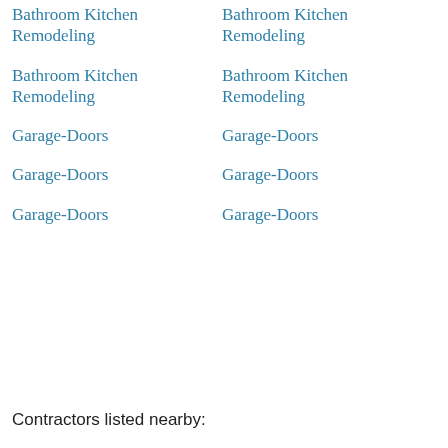Bathroom Kitchen Remodeling
Bathroom Kitchen Remodeling
Bathroom Kitchen Remodeling
Bathroom Kitchen Remodeling
Garage-Doors
Garage-Doors
Garage-Doors
Garage-Doors
Garage-Doors
Garage-Doors
Contractors listed nearby: